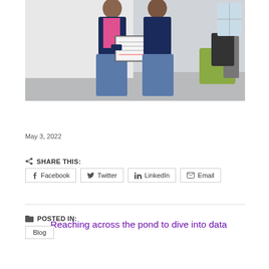[Figure (photo): Two people standing together holding a framed certificate or document, in an office setting with a green chair visible in the background.]
Reaching across the pond to dive into data
May 3, 2022
SHARE THIS:
Facebook  Twitter  LinkedIn  Email
POSTED IN:
Blog